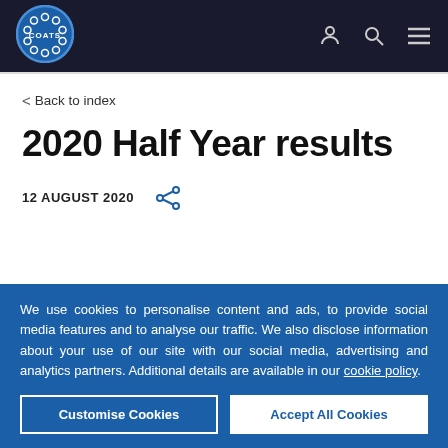[Figure (logo): Coats company logo — circular blue badge with chain-link ring and COATS text, shown in website navigation bar]
< Back to index
2020 Half Year results
12 AUGUST 2020
We use cookies to personalise content and ads, to provide social media features and to analyse our traffic. We also disclose information about your use of our site with our social media, advertising and analytics partners. Additional details are available in our cookie policy.
Customise Cookies | Accept All Cookies